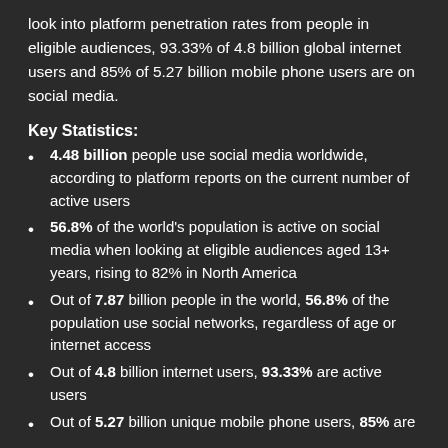look into platform penetration rates from people in eligible audiences, 93.33% of 4.8 billion global internet users and 85% of 5.27 billion mobile phone users are on social media.
Key Statistics:
4.48 billion people use social media worldwide, according to platform reports on the current number of active users
56.8% of the world's population is active on social media when looking at eligible audiences aged 13+ years, rising to 82% in North America
Out of 7.87 billion people in the world, 56.8% of the population use social networks, regardless of age or internet access
Out of 4.8 billion internet users, 93.33% are active users
Out of 5.27 billion unique mobile phone users, 85% are...